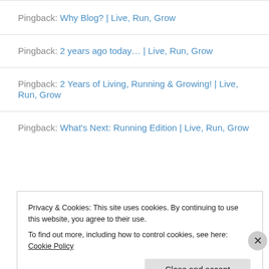Pingback: Why Blog? | Live, Run, Grow
Pingback: 2 years ago today… | Live, Run, Grow
Pingback: 2 Years of Living, Running & Growing! | Live, Run, Grow
Pingback: What's Next: Running Edition | Live, Run, Grow
Privacy & Cookies: This site uses cookies. By continuing to use this website, you agree to their use. To find out more, including how to control cookies, see here: Cookie Policy